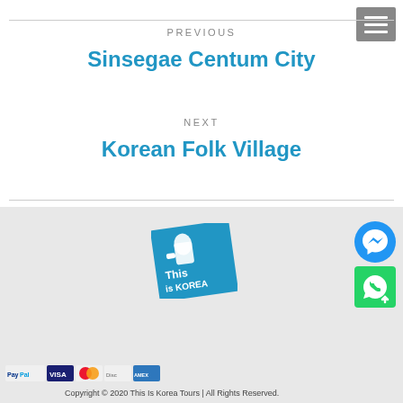PREVIOUS
Sinsegae Centum City
NEXT
Korean Folk Village
[Figure (logo): This is KOREA Tours logo — blue square with thumbs-up hand icon and text 'This is KOREA']
[Figure (logo): Facebook Messenger button — blue circle with white lightning bolt]
[Figure (logo): WhatsApp button — green rounded square with white phone icon]
[Figure (logo): Payment icons: PayPal, Visa, Mastercard, Discover, American Express]
Copyright © 2020 This Is Korea Tours | All Rights Reserved.